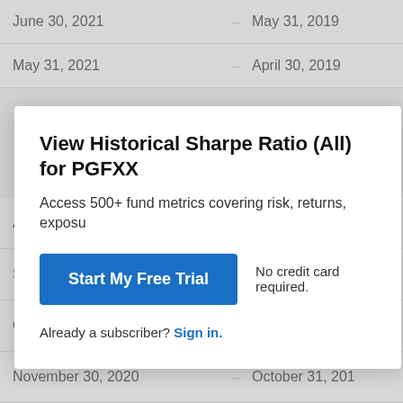| Date |  | Date |
| --- | --- | --- |
| June 30, 2021 | -- | May 31, 2019 |
| May 31, 2021 | -- | April 30, 2019 |
| November 30, 2020 | -- | October 31, 2018 |
| October 31, 2020 | -- | September 30, 2018 |
| September 30, 2020 | -- | August 31, 2018 |
| August 31, 2020 | -- | July 31, 2018 |
View Historical Sharpe Ratio (All) for PGFXX
Access 500+ fund metrics covering risk, returns, expos...
Start My Free Trial
No credit card required.
Already a subscriber? Sign in.